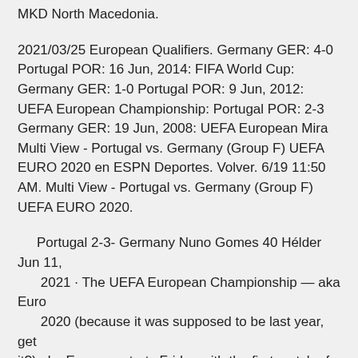MKD North Macedonia.
2021/03/25 European Qualifiers. Germany GER: 4-0 Portugal POR: 16 Jun, 2014: FIFA World Cup: Germany GER: 1-0 Portugal POR: 9 Jun, 2012: UEFA European Championship: Portugal POR: 2-3 Germany GER: 19 Jun, 2008: UEFA European Mira Multi View - Portugal vs. Germany (Group F) UEFA EURO 2020 en ESPN Deportes. Volver. 6/19 11:50 AM. Multi View - Portugal vs. Germany (Group F) UEFA EURO 2020.
Portugal 2-3- Germany Nuno Gomes 40 Hélder Jun 11, 2021 · The UEFA European Championship — aka Euro 2020 (because it was supposed to be last year, get it?) aka Euros — starts Friday with the first match of the group stage, to be held at sites across Germany. 2020/11/17 UEFA Nations League. 17/11/2020. W. GER.